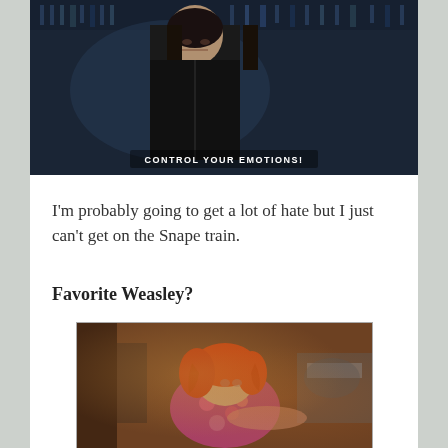[Figure (screenshot): Screenshot from Harry Potter film showing Professor Snape in dark robes with subtitle text 'CONTROL YOUR EMOTIONS!']
I'm probably going to get a lot of hate but I just can't get on the Snape train.
Favorite Weasley?
[Figure (screenshot): Screenshot from Harry Potter film showing a red-haired Weasley character wearing a floral/colorful sweater, leaning forward]